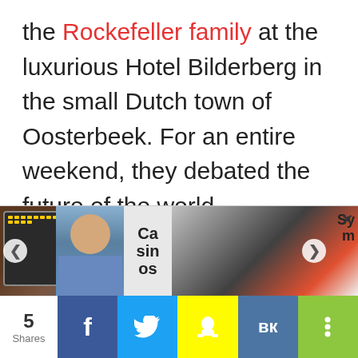the Rockefeller family at the luxurious Hotel Bilderberg in the small Dutch town of Oosterbeek. For an entire weekend, they debated the future of the world.

When it was over, they decide to meet once every year to exchange ideas and
[Figure (screenshot): Advertisement carousel with slot machine image, man's photo, 'Casinos' text, woman image, 'Sym' text, left and right navigation arrows, and close X button]
[Figure (screenshot): Social sharing bar showing 5 Shares count, Facebook, Twitter, Snapchat, VK, and share more buttons]